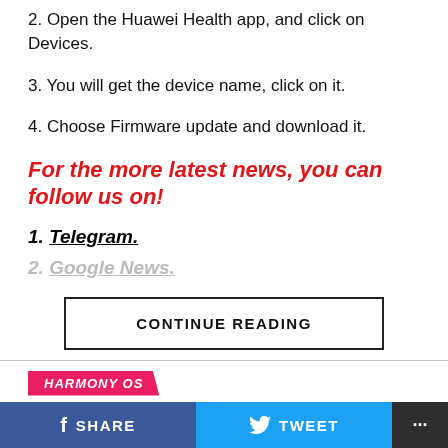2. Open the Huawei Health app, and click on Devices.
3. You will get the device name, click on it.
4. Choose Firmware update and download it.
For the more latest news, you can follow us on!
1. Telegram.
2. Google News.
CONTINUE READING
HARMONY OS
Huawei P50 Pro July 2022 firmware
SHARE   TWEET   ...